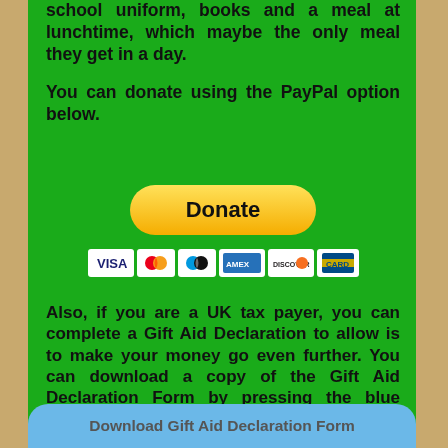school uniform, books and a meal at lunchtime, which maybe the only meal they get in a day.
You can donate using the PayPal option below.
[Figure (other): PayPal Donate button (yellow rounded rectangle with bold 'Donate' text) above a row of payment card logos (Visa, Mastercard, Maestro, American Express, Discover, and another card)]
Also, if you are a UK tax payer, you can complete a Gift Aid Declaration to allow is to make your money go even further. You can download a copy of the Gift Aid Declaration Form by pressing the blue button below. Once completed you can submit it using the form to the right.
[Figure (other): Blue rounded button at the bottom partially visible, labeled 'Download Gift Aid Declaration Form']